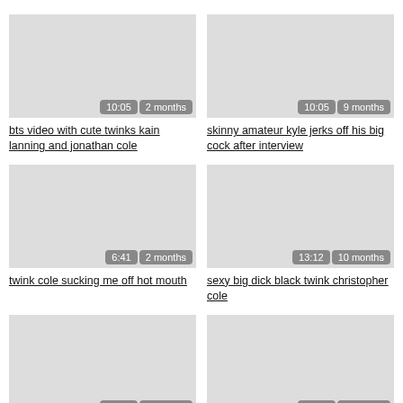[Figure (screenshot): Video thumbnail placeholder top-left with badges 10:05 and 2 months]
bts video with cute twinks kain lanning and jonathan cole
[Figure (screenshot): Video thumbnail placeholder top-right with badges 10:05 and 9 months]
skinny amateur kyle jerks off his big cock after interview
[Figure (screenshot): Video thumbnail placeholder middle-left with badges 6:41 and 2 months]
twink cole sucking me off hot mouth
[Figure (screenshot): Video thumbnail placeholder middle-right with badges 13:12 and 10 months]
sexy big dick black twink christopher cole
[Figure (screenshot): Video thumbnail placeholder bottom-left with badges 29:29 and 9 months]
twink(cole) admires muscle stud ( alex)
[Figure (screenshot): Video thumbnail placeholder bottom-right with badges 10:05 and 8 months]
twink amateurs alex todd and jonathan cole anal fuck hard